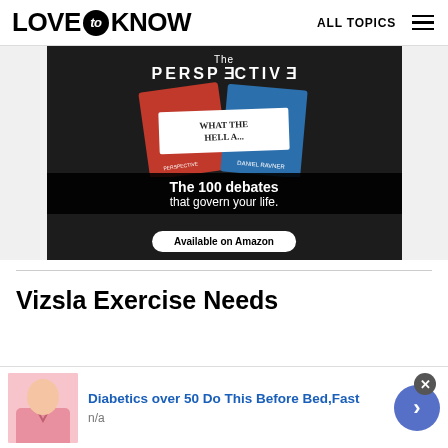LOVE to KNOW  ALL TOPICS
[Figure (photo): Advertisement for 'The Perspective' book by Daniel Ravner showing the book cover with red and blue design. Text reads: 'The PERSPECTIVE', 'WHAT THE HELL A...', 'The 100 debates that govern your life.', 'Available on Amazon']
Vizsla Exercise Needs
[Figure (photo): Advertisement banner showing a person in pink shirt with text: 'Diabetics over 50 Do This Before Bed, Fast' and 'n/a' with a blue arrow button and close button]